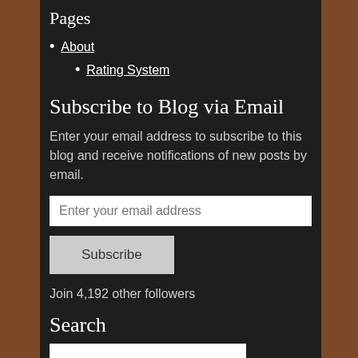Pages
About
Rating System
Subscribe to Blog via Email
Enter your email address to subscribe to this blog and receive notifications of new posts by email.
Enter your email address
Subscribe
Join 4,192 other followers
Search